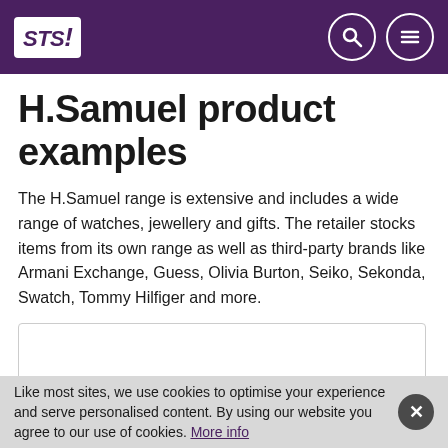STS! [logo] with search and menu icons
H.Samuel product examples
The H.Samuel range is extensive and includes a wide range of watches, jewellery and gifts. The retailer stocks items from its own range as well as third-party brands like Armani Exchange, Guess, Olivia Burton, Seiko, Sekonda, Swatch, Tommy Hilfiger and more.
[Figure (other): Empty image placeholder box with light gray border]
Like most sites, we use cookies to optimise your experience and serve personalised content. By using our website you agree to our use of cookies. More info